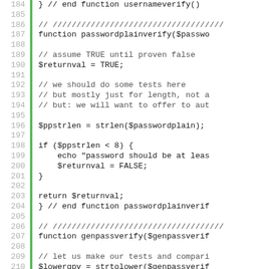[Figure (screenshot): Source code listing in PHP showing lines 184-210, with line numbers on the left, a green vertical bar gutter, and monospace code. The code includes the end of usernameverify(), a function passwordplainverify(), and the beginning of genpassverify().]